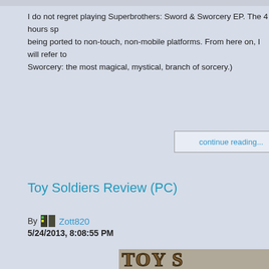I do not regret playing Superbrothers: Sword & Sworcery EP. The 4 hours sp... being ported to non-touch, non-mobile platforms. From here on, I will refer to Sworcery: the most magical, mystical, branch of sorcery.)
continue reading...
Toy Soldiers Review (PC)
By Zott820
5/24/2013, 8:08:55 PM
[Figure (photo): Toy Soldiers game logo image showing ornate bronze/metallic letters spelling 'TOY S...' on a grey background]